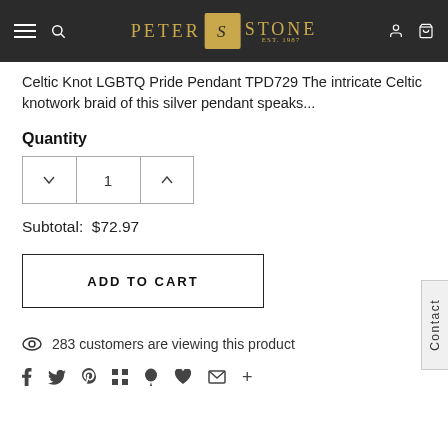Peter Stone Est. 1987 — navigation bar
Celtic Knot LGBTQ Pride Pendant TPD729 The intricate Celtic knotwork braid of this silver pendant speaks...
Quantity
Subtotal: $72.97
ADD TO CART
283 customers are viewing this product